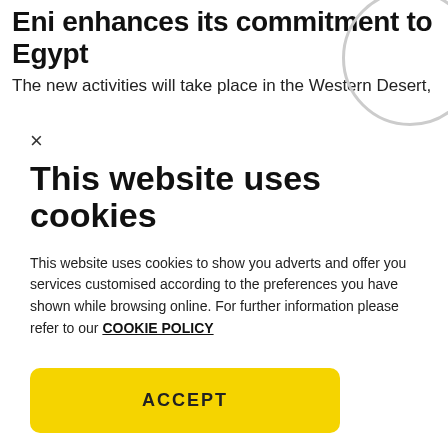Eni enhances its commitment to Egypt
The new activities will take place in the Western Desert,
×
This website uses cookies
This website uses cookies to show you adverts and offer you services customised according to the preferences you have shown while browsing online. For further information please refer to our COOKIE POLICY
ACCEPT
Cookies Settings